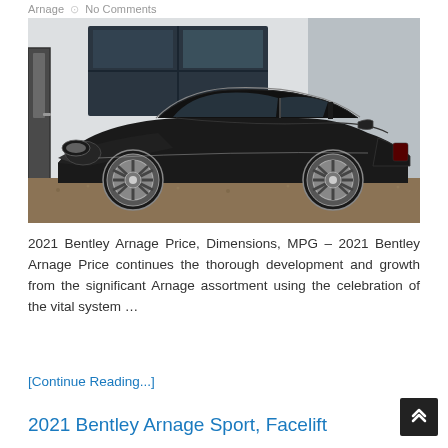Arnage   No Comments
[Figure (photo): Side profile of a black Bentley Arnage luxury sedan parked on gravel in front of a white building with large windows. The car features polished multi-spoke alloy wheels.]
2021 Bentley Arnage Price, Dimensions, MPG – 2021 Bentley Arnage Price continues the thorough development and growth from the significant Arnage assortment using the celebration of the vital system …
[Continue Reading...]
2021 Bentley Arnage Sport, Facelift